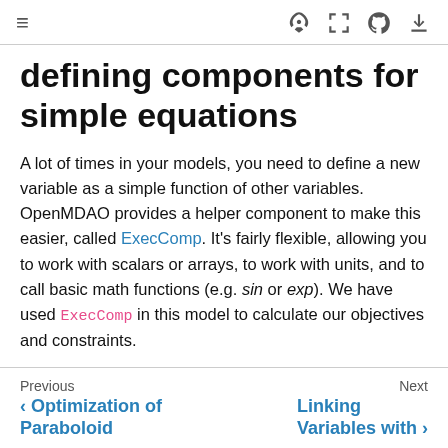≡ [rocket] [expand] [github] [download]
defining components for simple equations
A lot of times in your models, you need to define a new variable as a simple function of other variables. OpenMDAO provides a helper component to make this easier, called ExecComp. It's fairly flexible, allowing you to work with scalars or arrays, to work with units, and to call basic math functions (e.g. sin or exp). We have used ExecComp in this model to calculate our objectives and constraints.
Previous  Optimization of Paraboloid | Next  Linking Variables with